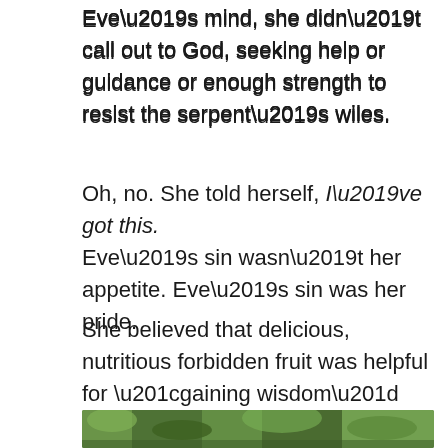Eve’s mind, she didn’t call out to God, seeking help or guidance or enough strength to resist the serpent’s wiles.
Oh, no. She told herself, I’ve got this. Eve’s sin wasn’t her appetite. Eve’s sin was her pride.
She believed that delicious, nutritious forbidden fruit was helpful for “gaining wisdom” (Genesis 3:6). How could that be a bad thing? Didn’t Solomon ask God for wisdom?
Yes, he did. But Eve didn’t turn to God. She turned to God’s enemy.
[Figure (photo): Bottom edge of a nature/plant photo, showing green foliage]